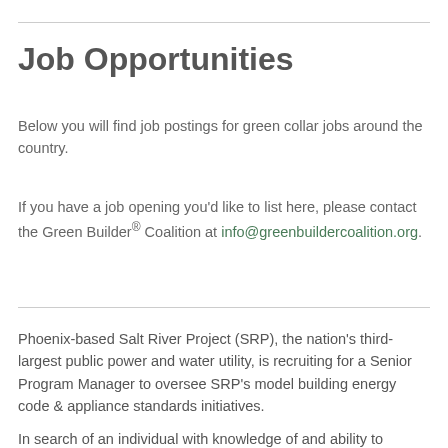Job Opportunities
Below you will find job postings for green collar jobs around the country.
If you have a job opening you'd like to list here, please contact the Green Builder® Coalition at info@greenbuildercoalition.org.
Phoenix-based Salt River Project (SRP), the nation's third-largest public power and water utility, is recruiting for a Senior Program Manager to oversee SRP's model building energy code & appliance standards initiatives.
In search of an individual with knowledge of and ability to